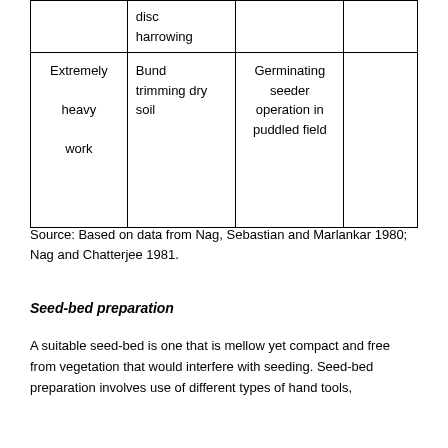|  |  |  |  |
| --- | --- | --- | --- |
|  | disc harrowing |  |  |
| Extremely heavy work | Bund trimming dry soil | Germinating seeder operation in puddled field |  |
Source: Based on data from Nag, Sebastian and Marlankar 1980; Nag and Chatterjee 1981.
Seed-bed preparation
A suitable seed-bed is one that is mellow yet compact and free from vegetation that would interfere with seeding. Seed-bed preparation involves use of different types of hand tools,